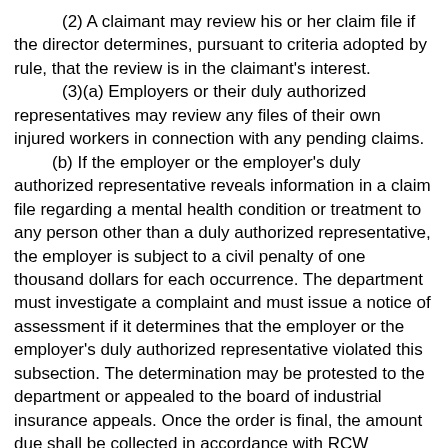(2) A claimant may review his or her claim file if the director determines, pursuant to criteria adopted by rule, that the review is in the claimant's interest.
(3)(a) Employers or their duly authorized representatives may review any files of their own injured workers in connection with any pending claims.
(b) If the employer or the employer's duly authorized representative reveals information in a claim file regarding a mental health condition or treatment to any person other than a duly authorized representative, the employer is subject to a civil penalty of one thousand dollars for each occurrence. The department must investigate a complaint and must issue a notice of assessment if it determines that the employer or the employer's duly authorized representative violated this subsection. The determination may be protested to the department or appealed to the board of industrial insurance appeals. Once the order is final, the amount due shall be collected in accordance with RCW 51.48.140 and 51.48.150 and deposited in the supplemental pension fund.